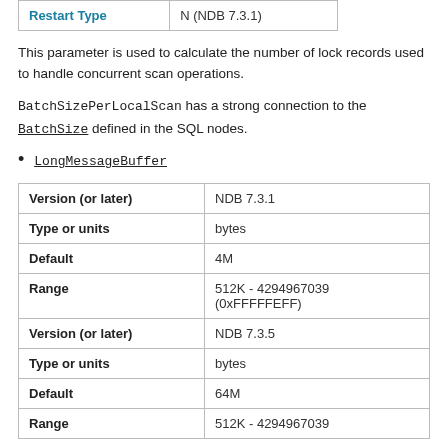| Restart Type |  |
| --- | --- |
| Restart Type | N (NDB 7.3.1) |
This parameter is used to calculate the number of lock records used to handle concurrent scan operations.
BatchSizePerLocalScan has a strong connection to the BatchSize defined in the SQL nodes.
LongMessageBuffer
|  |  |
| --- | --- |
| Version (or later) | NDB 7.3.1 |
| Type or units | bytes |
| Default | 4M |
| Range | 512K - 4294967039 (0xFFFFFEFF) |
| Version (or later) | NDB 7.3.5 |
| Type or units | bytes |
| Default | 64M |
| Range | 512K - 4294967039 |